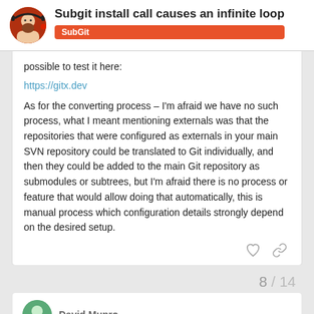Subgit install call causes an infinite loop
SubGit
possible to test it here:
https://gitx.dev
As for the converting process – I'm afraid we have no such process, what I meant mentioning externals was that the repositories that were configured as externals in your main SVN repository could be translated to Git individually, and then they could be added to the main Git repository as submodules or subtrees, but I'm afraid there is no process or feature that would allow doing that automatically, this is manual process which configuration details strongly depend on the desired setup.
David Munro
8 / 14